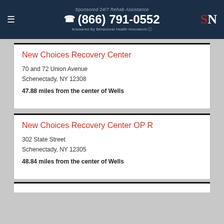Sponsored 24/7 Rehab Assistance (866) 791-0552 Answered By Behavioral Health Innovators SN
New Choices Recovery Center
70 and 72 Union Avenue
Schenectady, NY 12308
47.88 miles from the center of Wells
New Choices Recovery Center OP R
302 State Street
Schenectady, NY 12305
48.84 miles from the center of Wells